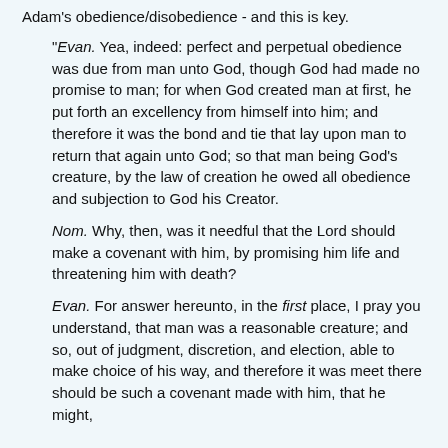Adam's obedience/disobedience - and this is key.
"Evan. Yea, indeed: perfect and perpetual obedience was due from man unto God, though God had made no promise to man; for when God created man at first, he put forth an excellency from himself into him; and therefore it was the bond and tie that lay upon man to return that again unto God; so that man being God's creature, by the law of creation he owed all obedience and subjection to God his Creator.
Nom. Why, then, was it needful that the Lord should make a covenant with him, by promising him life and threatening him with death?
Evan. For answer hereunto, in the first place, I pray you understand, that man was a reasonable creature; and so, out of judgment, discretion, and election, able to make choice of his way, and therefore it was meet there should be such a covenant made with him, that he might,